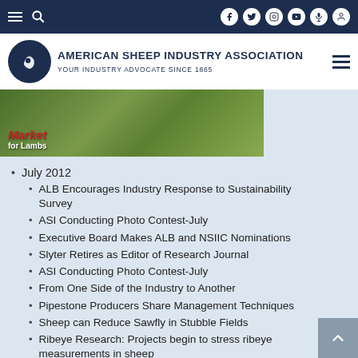American Sheep Industry Association — YOUR INDUSTRY ADVOCATE SINCE 1865
[Figure (photo): Outdoor landscape photo with sheep/lambs with text overlay 'Market for Lambs']
July 2012
ALB Encourages Industry Response to Sustainability Survey
ASI Conducting Photo Contest-July
Executive Board Makes ALB and NSIIC Nominations
Slyter Retires as Editor of Research Journal
ASI Conducting Photo Contest-July
From One Side of the Industry to Another
Pipestone Producers Share Management Techniques
Sheep can Reduce Sawfly in Stubble Fields
Ribeye Research: Projects begin to stress ribeye measurements in sheep